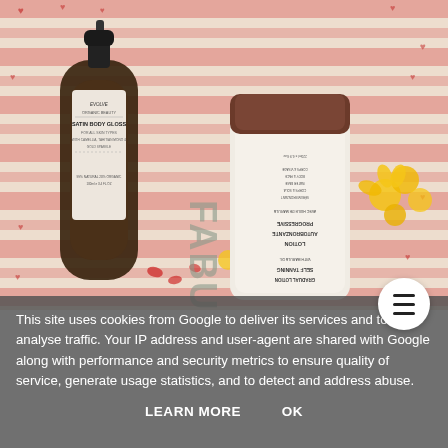[Figure (photo): Two beauty product bottles on a red and white striped fabric background with yellow flowers. Left bottle: Evolve Organic Beauty Satin Body Gloss spray bottle. Right bottle: Fabulo self-tanning gradual lotion with marula oil, displayed upside down showing label text reversed.]
This site uses cookies from Google to deliver its services and to analyse traffic. Your IP address and user-agent are shared with Google along with performance and security metrics to ensure quality of service, generate usage statistics, and to detect and address abuse.
LEARN MORE
OK